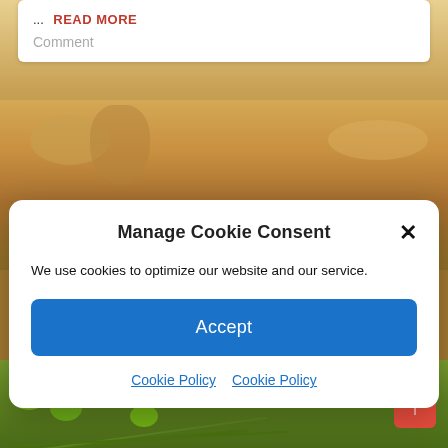... READ MORE
Comment
[Figure (screenshot): Food/ingredients background image with warm tones showing bowls and wooden utensils]
Manage Cookie Consent
We use cookies to optimize our website and our service.
Accept
Cookie Policy  Cookie Policy
dive into today's ... READ MORE
Comment
[Figure (photo): Green olives and herbs (rosemary) background image]